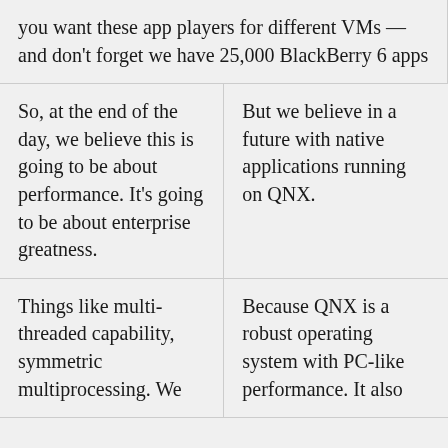you want these app players for different VMs — and don't forget we have 25,000 BlackBerry 6 apps
So, at the end of the day, we believe this is going to be about performance. It's going to be about enterprise greatness.
But we believe in a future with native applications running on QNX.
Things like multi-threaded capability, symmetric multiprocessing. We
Because QNX is a robust operating system with PC-like performance. It also